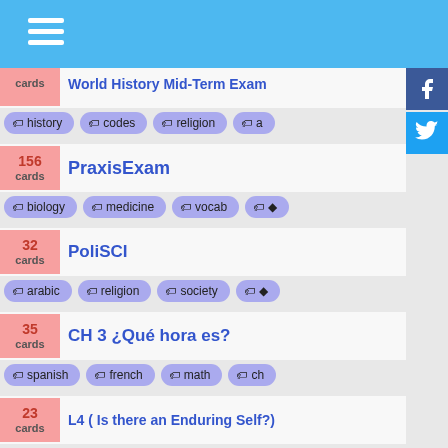World History Mid-Term Exam — cards: history, codes, religion
156 cards — PraxisExam — tags: biology, medicine, vocab
32 cards — PoliSCI — tags: arabic, religion, society
35 cards — CH 3 ¿Qué hora es? — tags: spanish, french, math, ch
23 cards — L4 ( Is there an Enduring Self?) — tags: anatomy, religion, vocab
237 cards — Tutto Vocabulario (working set) — tags: vocab, french, italian, an
45 cards — Deutsch fur alle — tags: family, spanish, computer-scien